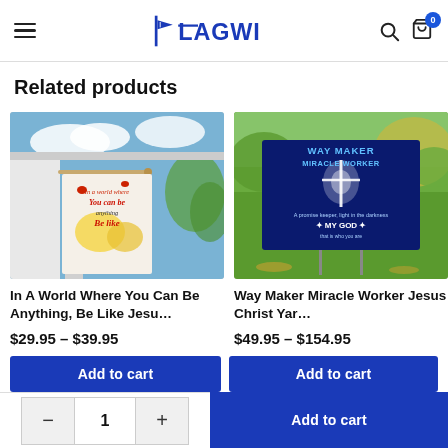Flagwix
Related products
[Figure (photo): A decorative garden flag hung on a porch pole, featuring a colorful design with cardinals, sunflowers, and the text 'In a world where you can be anything Be like Jesus']
In A World Where You Can Be Anything, Be Like Jesu…
$29.95 – $39.95
[Figure (photo): A yard sign in a lawn reading 'Way Maker Miracle Worker, A promise keeper, light in the darkness, My God, that is who you are' on a dark blue background with a glowing cross]
Way Maker Miracle Worker Jesus Christ Yar…
$49.95 – $154.95